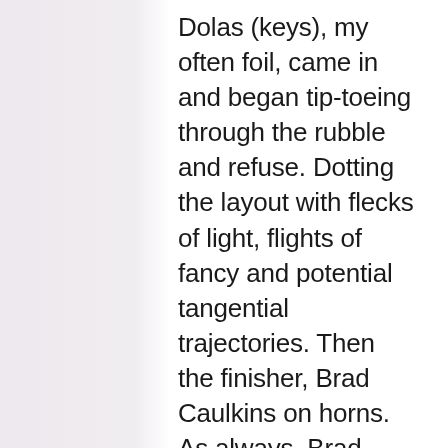Dolas (keys), my often foil, came in and began tip-toeing through the rubble and refuse. Dotting the layout with flecks of light, flights of fancy and potential tangential trajectories. Then the finisher, Brad Caulkins on horns. As always, Brad came in like grace itself, scanned the floor for food, and huffed and puffed and blew the house down. He takes a bruiser situation and lends it